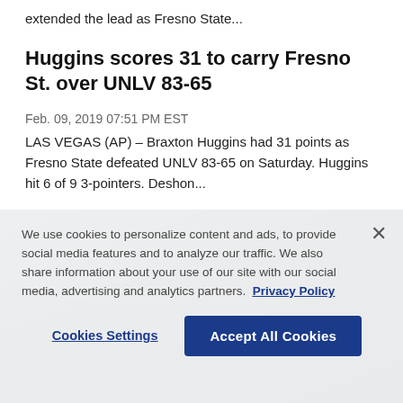extended the lead as Fresno State...
Huggins scores 31 to carry Fresno St. over UNLV 83-65
Feb. 09, 2019 07:51 PM EST
LAS VEGAS (AP) – Braxton Huggins had 31 points as Fresno State defeated UNLV 83-65 on Saturday. Huggins hit 6 of 9 3-pointers. Deshon...
We use cookies to personalize content and ads, to provide social media features and to analyze our traffic. We also share information about your use of our site with our social media, advertising and analytics partners.  Privacy Policy
Cookies Settings
Accept All Cookies